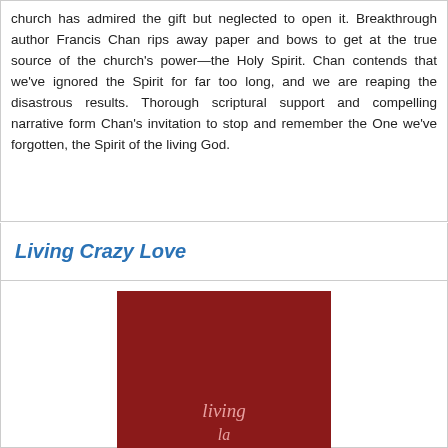church has admired the gift but neglected to open it. Breakthrough author Francis Chan rips away paper and bows to get at the true source of the church's power—the Holy Spirit. Chan contends that we've ignored the Spirit for far too long, and we are reaping the disastrous results. Thorough scriptural support and compelling narrative form Chan's invitation to stop and remember the One we've forgotten, the Spirit of the living God.
Living Crazy Love
[Figure (photo): Book cover for 'Living Crazy Love' — dark red background with handwritten-style text reading 'living' in pink/light color]